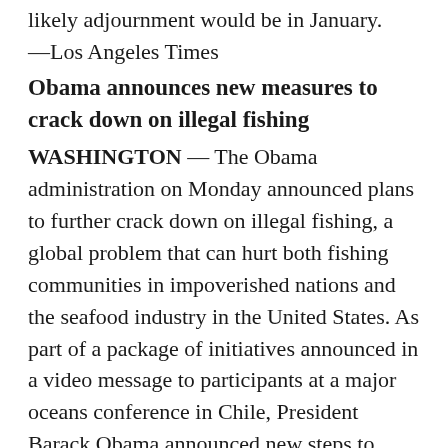likely adjournment would be in January.
—Los Angeles Times
Obama announces new measures to crack down on illegal fishing
WASHINGTON — The Obama administration on Monday announced plans to further crack down on illegal fishing, a global problem that can hurt both fishing communities in impoverished nations and the seafood industry in the United States. As part of a package of initiatives announced in a video message to participants at a major oceans conference in Chile, President Barack Obama announced new steps to tackle illegal fishing. They include the launching of a program called “Sea Scout,” designed to increase cooperation among